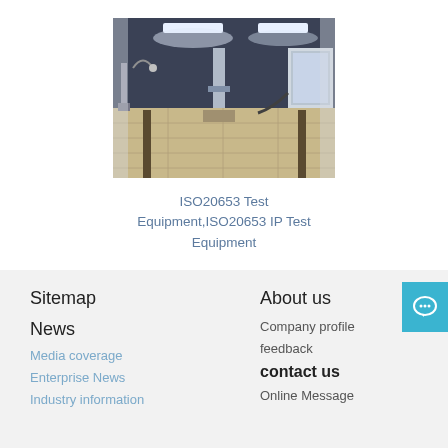[Figure (photo): Interior of an ISO20653 IP test laboratory with testing equipment, tracks on the floor, white walls and ceiling with fluorescent lighting, various measurement instruments and a door/window assembly under test.]
ISO20653 Test Equipment,ISO20653 IP Test Equipment
Sitemap
News
Media coverage
Enterprise News
Industry information
About us
Company profile
feedback
contact us
Online Message